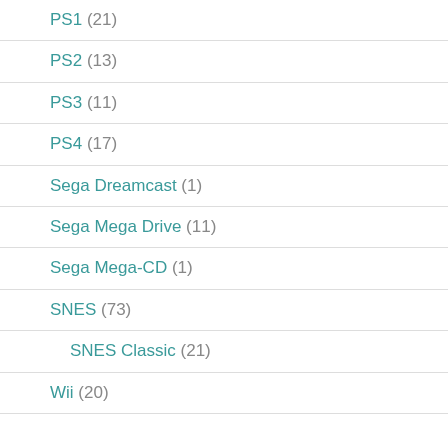PS1 (21)
PS2 (13)
PS3 (11)
PS4 (17)
Sega Dreamcast (1)
Sega Mega Drive (11)
Sega Mega-CD (1)
SNES (73)
SNES Classic (21)
Wii (20)